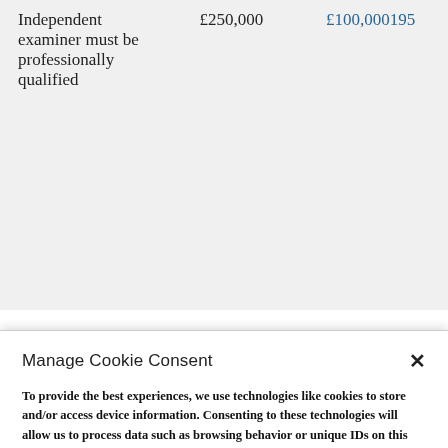| Independent examiner must be professionally qualified | £250,000 | £100,000195 |
Manage Cookie Consent
To provide the best experiences, we use technologies like cookies to store and/or access device information. Consenting to these technologies will allow us to process data such as browsing behavior or unique IDs on this site. Not consenting or withdrawing consent, may adversely affect certain features and functions.
ACCEPT
DENY
Privacy Policy & Terms of Use